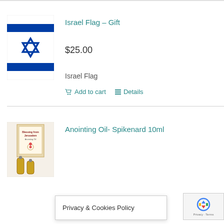[Figure (photo): Israel flag image showing blue Star of David on white background with blue horizontal stripes]
Israel Flag – Gift
$25.00
Israel Flag
Add to cart
Details
[Figure (photo): Anointing oil bottles labelled Blessing from Jerusalem Anointing Oil]
Anointing Oil- Spikenard 10ml
$9.00
Privacy & Cookies Policy